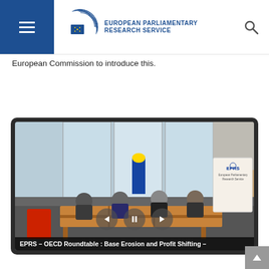European Parliamentary Research Service
European Commission to introduce this.
[Figure (photo): Conference room photo showing panelists seated at a table with EU flag in background, EPRS banner visible on right. Video player overlay with caption: EPRS – OECD Roundtable : Base Erosion and Profit Shifting –]